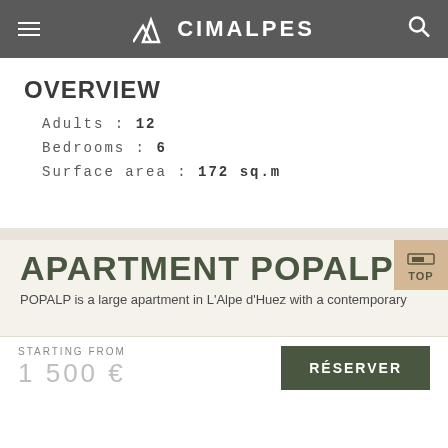CIMALPES
OVERVIEW
Adults : 12
Bedrooms : 6
Surface area : 172 sq.m
APARTMENT POPALP
POPALP is a large apartment in L'Alpe d'Huez with a contemporary
STARTING FROM 1 500 € RÉSERVER